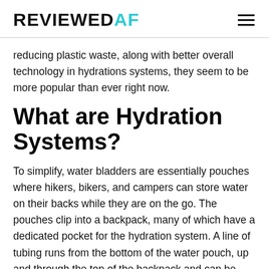REVIEWEDAF
reducing plastic waste, along with better overall technology in hydrations systems, they seem to be more popular than ever right now.
What are Hydration Systems?
To simplify, water bladders are essentially pouches where hikers, bikers, and campers can store water on their backs while they are on the go. The pouches clip into a backpack, many of which have a dedicated pocket for the hydration system. A line of tubing runs from the bottom of the water pouch, up and through the top of the backpack and can be clipped onto a shoulder strap, so the user has continuous access to fresh water. Most hydration systems utilize a bite valve, which allows you to control the flow of water by putting pressure on the valve with your teeth. Other systems